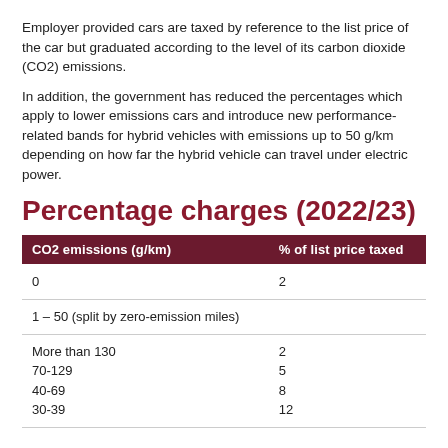Employer provided cars are taxed by reference to the list price of the car but graduated according to the level of its carbon dioxide (CO2) emissions.
In addition, the government has reduced the percentages which apply to lower emissions cars and introduce new performance-related bands for hybrid vehicles with emissions up to 50 g/km depending on how far the hybrid vehicle can travel under electric power.
Percentage charges (2022/23)
| CO2 emissions (g/km) | % of list price taxed |
| --- | --- |
| 0 | 2 |
| 1 – 50 (split by zero-emission miles) |  |
| More than 130
70-129
40-69
30-39 | 2
5
8
12 |